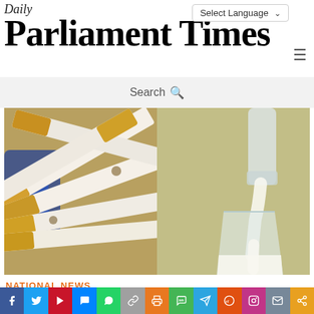Daily Parliament Times
Select Language
Search
[Figure (photo): Two side-by-side photos: left shows a pile of cigarettes with yellow filters, right shows milk being poured from a bottle into a glass]
NATIONAL NEWS
[Figure (infographic): Social media sharing bar with icons for Facebook, Twitter, YouTube, Messenger, WhatsApp, Link, Print, SMS, Telegram, Reddit, Instagram, Email, Share]